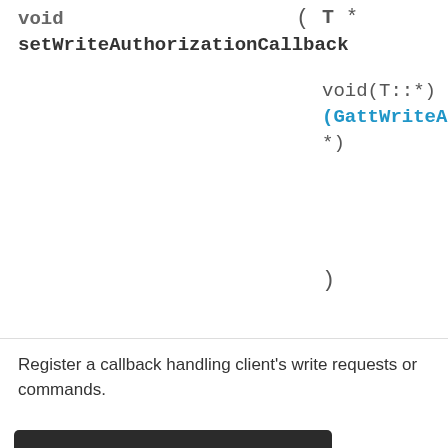|  |  |
| --- | --- |
| void
setWriteAuthorizationCallback | ( T *

void(T::*)
(GattWriteAuthCallba
*)

) |
Register a callback handling client's write requests or commands.
The callback registered is invoked when the client ... the characteristic value; the event ... the write request with ...
Pointer to the object of a class ... the event handler ... [in] object ( member ) It must remain valid
Important Information for this Arm website
This site uses cookies to store information on your computer. By continuing to use our site, you consent to our cookies. If you are not happy with the use of these cookies, please review our Cookie Policy to learn how they can be disabled. By disabling cookies, some features of the site will not work.
Accept and hide this message